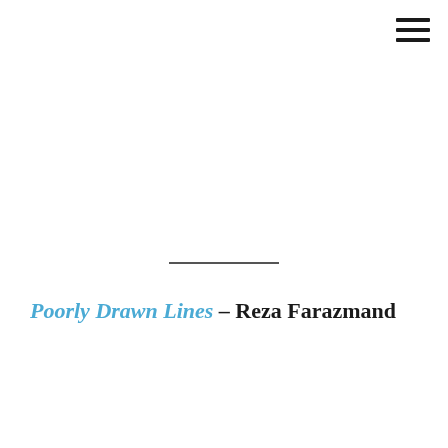[Figure (other): Hamburger menu icon with three horizontal lines in top-right corner]
Poorly Drawn Lines – Reza Farazmand